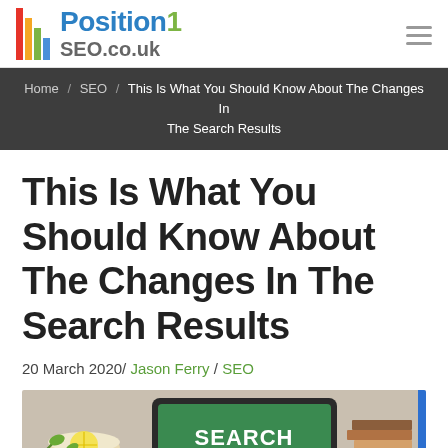[Figure (logo): Position1SEO.co.uk logo with colored vertical bars and blue/gray text]
Home / SEO / This Is What You Should Know About The Changes In The Search Results
This Is What You Should Know About The Changes In The Search Results
20 March 2020/ Jason Ferry / SEO
[Figure (photo): Photograph of a tablet showing a green screen with SEARCH text and magnifying glass icon, with a cup of tea and books in the background]